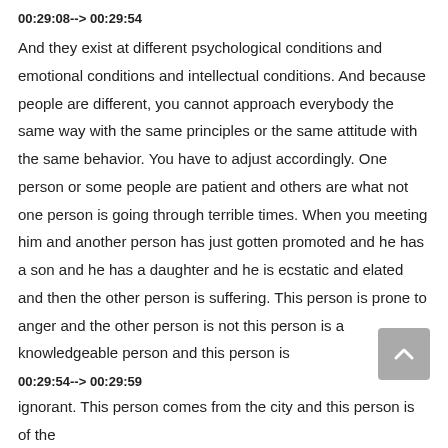00:29:08--> 00:29:54
And they exist at different psychological conditions and emotional conditions and intellectual conditions. And because people are different, you cannot approach everybody the same way with the same principles or the same attitude with the same behavior. You have to adjust accordingly. One person or some people are patient and others are what not one person is going through terrible times. When you meeting him and another person has just gotten promoted and he has a son and he has a daughter and he is ecstatic and elated and then the other person is suffering. This person is prone to anger and the other person is not this person is a knowledgeable person and this person is
00:29:54--> 00:29:59
ignorant. This person comes from the city and this person is of the